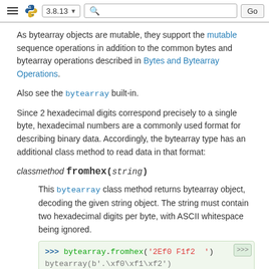3.8.13  Go
As bytearray objects are mutable, they support the mutable sequence operations in addition to the common bytes and bytearray operations described in Bytes and Bytearray Operations.
Also see the bytearray built-in.
Since 2 hexadecimal digits correspond precisely to a single byte, hexadecimal numbers are a commonly used format for describing binary data. Accordingly, the bytearray type has an additional class method to read data in that format:
classmethod bytearray.fromhex(string)
This bytearray class method returns bytearray object, decoding the given string object. The string must contain two hexadecimal digits per byte, with ASCII whitespace being ignored.
[Figure (screenshot): Python REPL code block showing: >>> bytearray.fromhex('2Ef0 F1f2  ') followed by bytearray(b'.\xf0\xf1\xf2')]